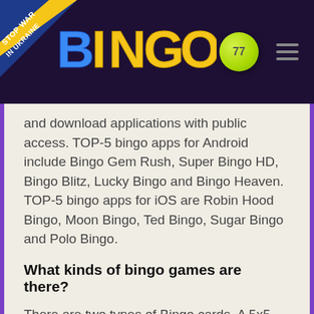BINGO 77 — Stop War In Ukraine
and download applications with public access. TOP-5 bingo apps for Android include Bingo Gem Rush, Super Bingo HD, Bingo Blitz, Lucky Bingo and Bingo Heaven. TOP-5 bingo apps for iOS are Robin Hood Bingo, Moon Bingo, Ted Bingo, Sugar Bingo and Polo Bingo.
What kinds of bingo games are there?
There are two types of Bingo cards. A 5x5 grid is used to play for 75-ball Bingo and a 9x3 grid is used for "Housie" or 90-ball